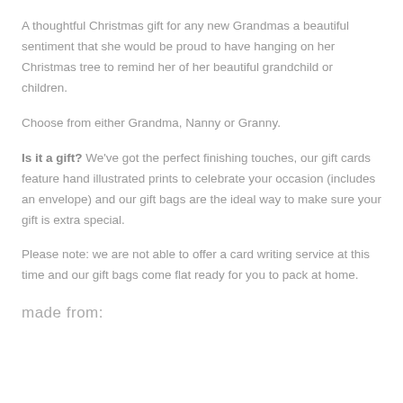A thoughtful Christmas gift for any new Grandmas a beautiful sentiment that she would be proud to have hanging on her Christmas tree to remind her of her beautiful grandchild or children.
Choose from either Grandma, Nanny or Granny.
Is it a gift? We've got the perfect finishing touches, our gift cards feature hand illustrated prints to celebrate your occasion (includes an envelope) and our gift bags are the ideal way to make sure your gift is extra special.
Please note: we are not able to offer a card writing service at this time and our gift bags come flat ready for you to pack at home.
made from: